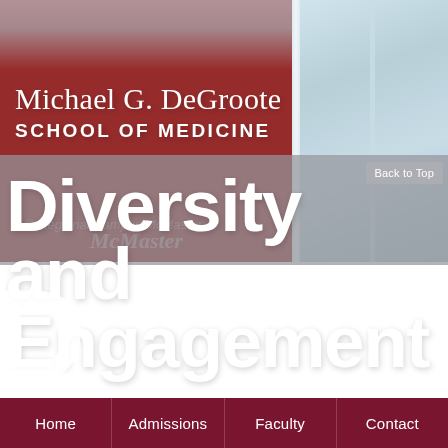[Figure (photo): Photo of the Michael G. DeGroote School of Medicine building interior/exterior showing a red wall with the school's signage and glass windows on the right side. The sign reads 'Michael G. DeGroote SCHOOL OF MEDICINE' in white letters on a dark red background.]
Diversity and Engagement D
Home | Admissions | Faculty | Contact